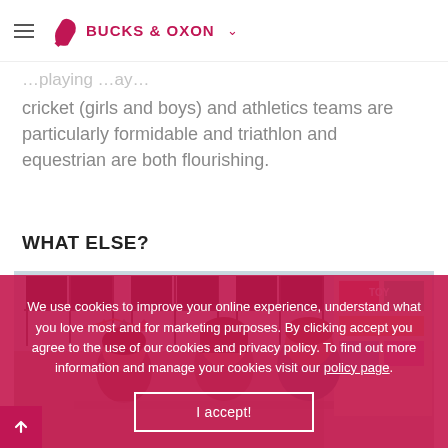BUCKS & OXON
cricket (girls and boys) and athletics teams are particularly formidable and triathlon and equestrian are both flourishing.
WHAT ELSE?
[Figure (photo): Students gathered around a table in a classroom, looking at work together. Bright classroom with large windows and display boards in background.]
We use cookies to improve your online experience, understand what you love most and for marketing purposes. By clicking accept you agree to the use of our cookies and privacy policy. To find out more information and manage your cookies visit our policy page.
I accept!